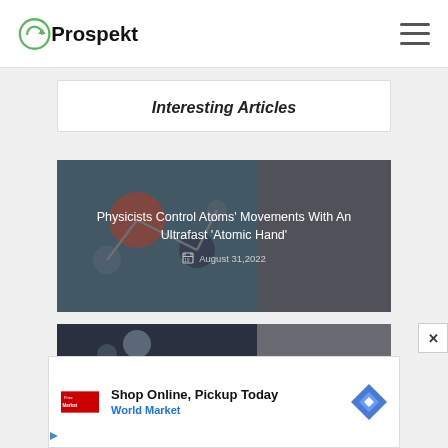Prospekt (logo) with hamburger menu
Interesting Articles
[Figure (photo): Article card with background image of colorful glass molecules/atoms. Overlay text: 'Physicists Control Atoms' Movements With An Ultrafast 'Atomic Hand'' dated August 31, 2022]
Physicists Control Atoms' Movements With An Ultrafast 'Atomic Hand'
[Figure (photo): Second article card, partially visible at bottom]
[Figure (infographic): Advertisement banner: Shop Online, Pickup Today - World Market, with World Market logo and navigation icon]